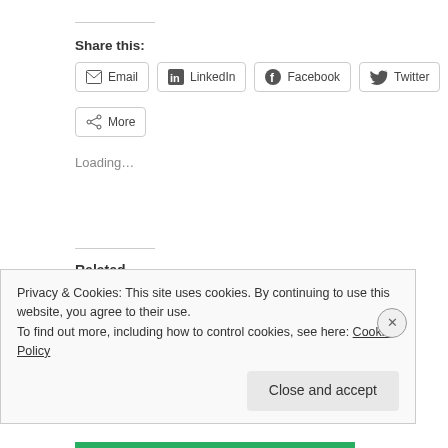Share this:
Email  LinkedIn  Facebook  Twitter
More
Loading...
Related
Rogue Words from A to Z: Kinder in the Garden
April 13, 2015
Rogue Words from A to Z: The Riddle of the Resuscitated Reputation
Privacy & Cookies: This site uses cookies. By continuing to use this website, you agree to their use.
To find out more, including how to control cookies, see here: Cookie Policy
Close and accept